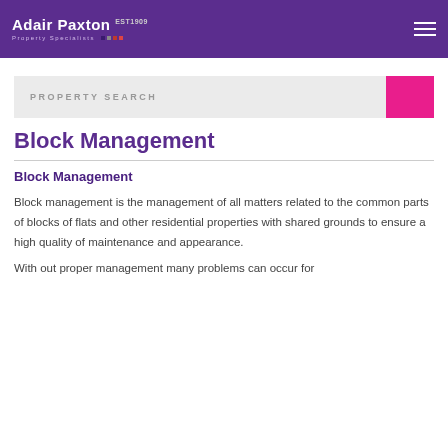Adair Paxton Property Specialists
PROPERTY SEARCH
Block Management
Block Management
Block management is the management of all matters related to the common parts of blocks of flats and other residential properties with shared grounds to ensure a high quality of maintenance and appearance.
Without proper management many problems can occur for